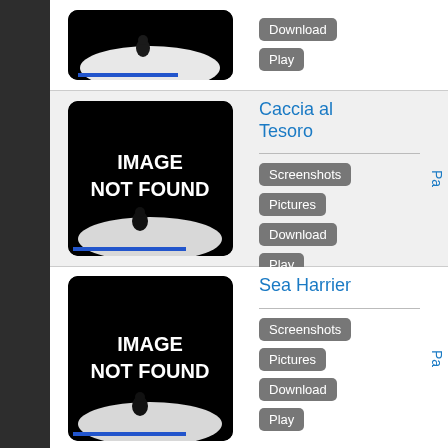[Figure (screenshot): Partial game thumbnail at top, image not found placeholder with dark background and small figure at bottom]
Download
Play
Caccia al Tesoro
[Figure (screenshot): IMAGE NOT FOUND placeholder thumbnail for Caccia al Tesoro game]
Screenshots
Pictures
Download
Play
Sea Harrier
[Figure (screenshot): IMAGE NOT FOUND placeholder thumbnail for Sea Harrier game]
Screenshots
Pictures
Download
Play
Harry e le Formiche